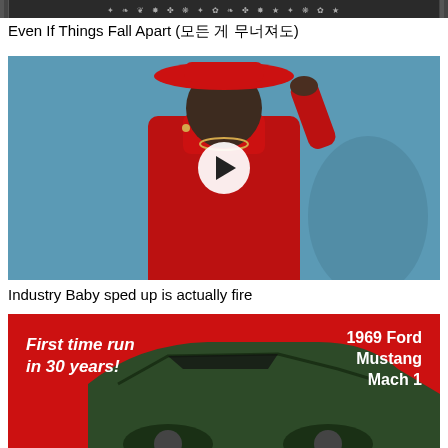[Figure (screenshot): Dark decorative banner image with text/symbol pattern]
Even If Things Fall Apart (모든 게 무너져도)
[Figure (photo): Video thumbnail showing a person in red outfit and red wide-brim hat against a blue background, with a play button overlay]
Industry Baby sped up is actually fire
[Figure (photo): Red advertisement banner reading 'First time run in 30 years!' and '1969 Ford Mustang Mach 1' with a car image]